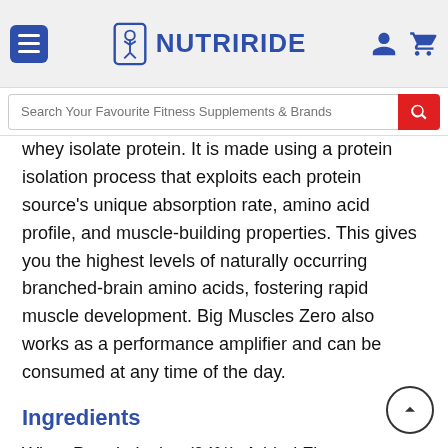NUTRIRIDE
whey isolate protein. It is made using a protein isolation process that exploits each protein source's unique absorption rate, amino acid profile, and muscle-building properties. This gives you the highest levels of naturally occurring branched-brain amino acids, fostering rapid muscle development. Big Muscles Zero also works as a performance amplifier and can be consumed at any time of the day.
Ingredients
Whey Protein Isolate(94%), Added Flavors (Nature Identical Flavoring Substances), Sucralose, Calcium Phosphate & Sodium Benzoate as a preservative.